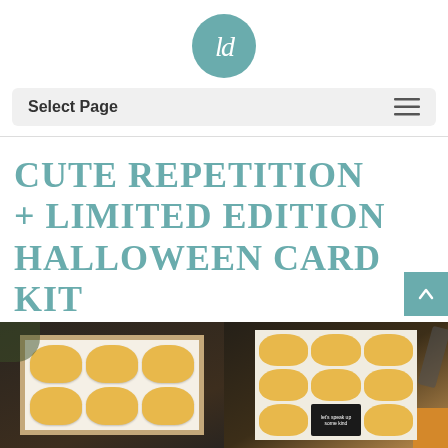[Figure (logo): Circular teal logo with cursive 'ld' letters on a teal/seafoam green background]
Select Page
CUTE REPETITION + LIMITED EDITION HALLOWEEN CARD KIT
[Figure (photo): Two side-by-side photos of Halloween pumpkin cards. Left photo shows a card with 6 cute kawaii pumpkin stamps arranged in a 3x2 grid on kraft-bordered white cardstock, on a dark wooden background with green leaves. Right photo shows a similar card with 9 pumpkins in a 3x3 grid and a black tag label reading 'let's speak up some kind', with scissors and orange fabric visible.]